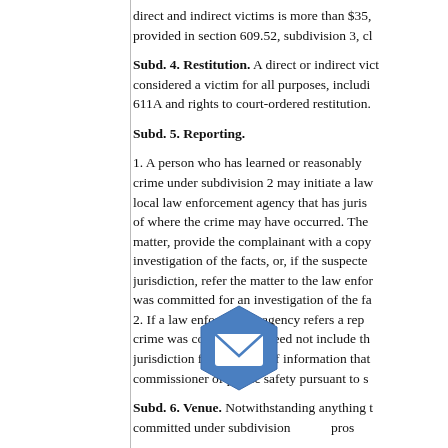direct and indirect victims is more than $35, provided in section 609.52, subdivision 3, cl
Subd. 4. Restitution. A direct or indirect vict considered a victim for all purposes, includi 611A and rights to court-ordered restitution.
Subd. 5. Reporting.
1. A person who has learned or reasonably crime under subdivision 2 may initiate a law local law enforcement agency that has juris of where the crime may have occurred. The matter, provide the complainant with a copy investigation of the facts, or, if the suspecte jurisdiction, refer the matter to the law enfor was committed for an investigation of the fa 2. If a law enforcement agency refers a rep crime was committed, it need not include th jurisdiction for purposes of information that commissioner of public safety pursuant to s
Subd. 6. Venue. Notwithstanding anything t committed under subdivision pros
1. the county where the offer rred; o 2. the county of residence or place of busin